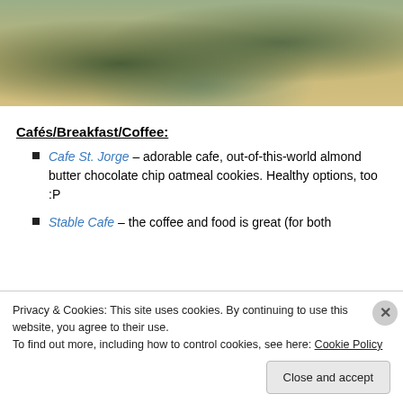[Figure (photo): Outdoor landscape photo showing low scrubby desert vegetation (sagebrush) with sandy soil and hills in background, partly cropped at top]
Cafés/Breakfast/Coffee:
Cafe St. Jorge – adorable cafe, out-of-this-world almond butter chocolate chip oatmeal cookies. Healthy options, too :P
Stable Cafe – the coffee and food is great (for both
Privacy & Cookies: This site uses cookies. By continuing to use this website, you agree to their use.
To find out more, including how to control cookies, see here: Cookie Policy
Close and accept